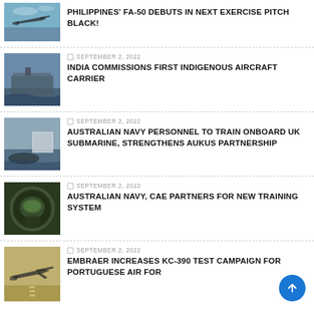[Figure (photo): Fighter jet flying over water, gray sky]
PHILIPPINES' FA-50 DEBUTS IN NEXT EXERCISE PITCH BLACK!
[Figure (photo): Aircraft carrier at sea from above]
SEPTEMBER 2, 2022
INDIA COMMISSIONS FIRST INDIGENOUS AIRCRAFT CARRIER
[Figure (photo): Navy vessel docked at port]
SEPTEMBER 2, 2022
AUSTRALIAN NAVY PERSONNEL TO TRAIN ONBOARD UK SUBMARINE, STRENGTHENS AUKUS PARTNERSHIP
[Figure (photo): Pilot in cockpit with green night-vision equipment]
SEPTEMBER 2, 2022
AUSTRALIAN NAVY, CAE PARTNERS FOR NEW TRAINING SYSTEM
[Figure (photo): Military transport aircraft taking off from runway]
SEPTEMBER 2, 2022
EMBRAER INCREASES  KC-390 TEST CAMPAIGN FOR PORTUGUESE AIR FOR